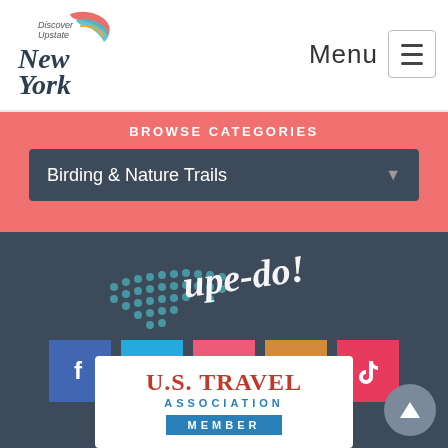Discover Upstate New York — Menu
BROWSE CATEGORIES
Birding & Nature Trails
[Figure (illustration): Decorative map and handwritten-style text graphic for Discover Upstate NY]
[Figure (infographic): Social media icon buttons: Facebook (blue), Twitter (teal), YouTube (pink-red), Instagram (orange), TikTok (red)]
© 2022 Discover Upstate NY. All rights reserved.
[Figure (logo): U.S. Travel Association Member badge — white rectangle with red U.S. TRAVEL text, teal ASSOCIATION text, and teal MEMBER box]
[Figure (other): Scroll-to-top circular button with upward arrow]